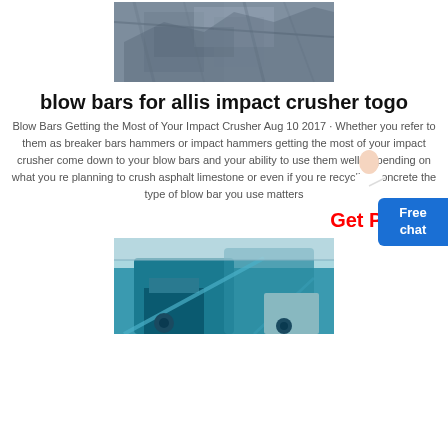[Figure (photo): Aerial view of industrial crushing/mining equipment with scaffolding and machinery]
blow bars for allis impact crusher togo
Blow Bars Getting the Most of Your Impact Crusher Aug 10 2017 · Whether you refer to them as breaker bars hammers or impact hammers getting the most of your impact crusher comes down to your blow bars and your ability to use them well Depending on what you re planning to crush asphalt limestone or even if you re recycling concrete the type of blow bar you use matters
Get Price
[Figure (photo): Blue mobile impact crusher machine on outdoor site]